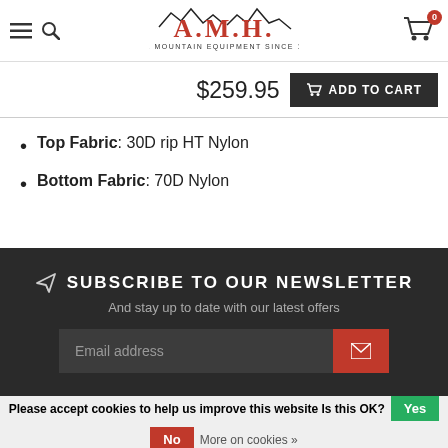A.M.H. Fine Mountain Equipment Since 1974 — navigation header with hamburger, search, logo, and cart (0 items)
$259.95
ADD TO CART
Top Fabric: 30D rip HT Nylon
Bottom Fabric: 70D Nylon
SUBSCRIBE TO OUR NEWSLETTER
And stay up to date with our latest offers
Email address
Please accept cookies to help us improve this website Is this OK? Yes No More on cookies »